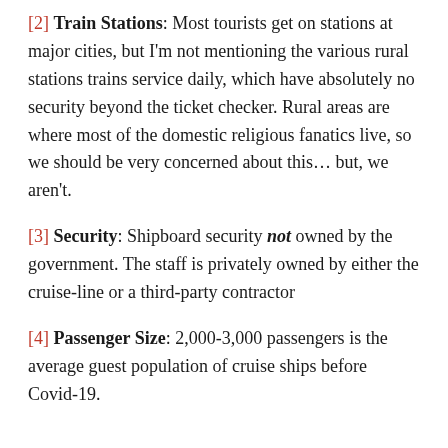[2] Train Stations: Most tourists get on stations at major cities, but I'm not mentioning the various rural stations trains service daily, which have absolutely no security beyond the ticket checker. Rural areas are where most of the domestic religious fanatics live, so we should be very concerned about this… but, we aren't.
[3] Security: Shipboard security not owned by the government. The staff is privately owned by either the cruise-line or a third-party contractor
[4] Passenger Size: 2,000-3,000 passengers is the average guest population of cruise ships before Covid-19.